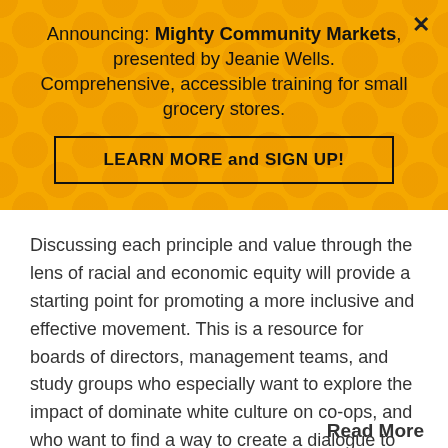Announcing: Mighty Community Markets, presented by Jeanie Wells. Comprehensive, accessible training for small grocery stores.
LEARN MORE and SIGN UP!
Discussing each principle and value through the lens of racial and economic equity will provide a starting point for promoting a more inclusive and effective movement. This is a resource for boards of directors, management teams, and study groups who especially want to explore the impact of dominate white culture on co-ops, and who want to find a way to create a dialogue to [...]
Read More